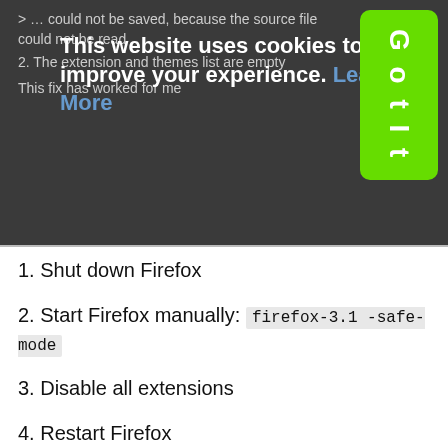> … could not be saved, because the source file could not be read
2. The extension and themes list are empty
This fix has worked for me
[Figure (screenshot): Cookie consent banner overlay with text 'This website uses cookies to improve your experience. Learn More' and a green 'Got It' button]
1. Shut down Firefox
2. Start Firefox manually: firefox-3.1 -safe-mode
3. Disable all extensions
4. Restart Firefox
5. When Firefox is back up and running, re-enable all extensions
DownThemAll not working
At some point DownThemAll stopped working, the